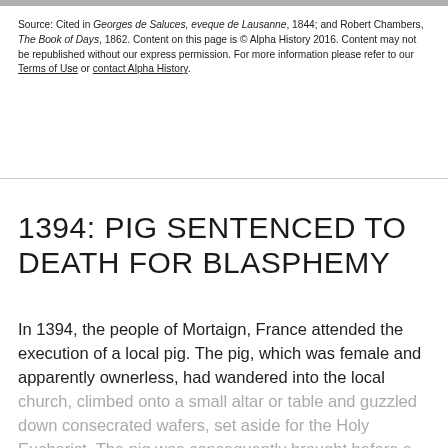Source: Cited in Georges de Saluces, eveque de Lausanne, 1844; and Robert Chambers, The Book of Days, 1862. Content on this page is © Alpha History 2016. Content may not be republished without our express permission. For more information please refer to our Terms of Use or contact Alpha History.
1394: PIG SENTENCED TO DEATH FOR BLASPHEMY
In 1394, the people of Mortaign, France attended the execution of a local pig. The pig, which was female and apparently ownerless, had wandered into the local church, climbed onto a small altar or table and guzzled down consecrated wafers, set aside for the Holy Eucharist. The pig was consequently brought before a...